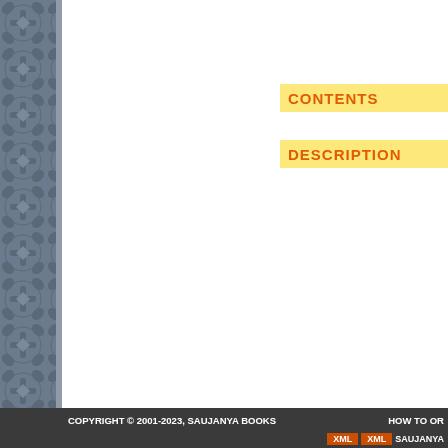[Figure (illustration): Left decorative sidebar with dark gray/blue background and repeating cross/fleur-de-lis pattern tiles]
CONTENTS
DESCRIPTION
COPYRIGHT © 2001-2023, SAUJANYA BOOKS    HOW TO OR    XML  XML  SAUJANYA